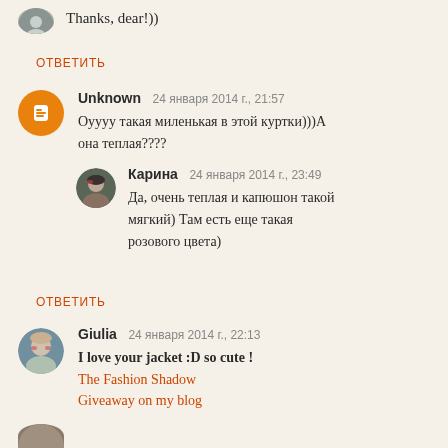Thanks, dear!))
ОТВЕТИТЬ
Unknown  24 января 2014 г., 21:57
Оуууу такая миленькая в этой куртки)))А она теплая????
Карина  24 января 2014 г., 23:49
Да, очень теплая и капюшон такой мягкий) Там есть еще такая розового цвета)
ОТВЕТИТЬ
Giulia  24 января 2014 г., 22:13
I love your jacket :D so cute !
The Fashion Shadow
Giveaway on my blog